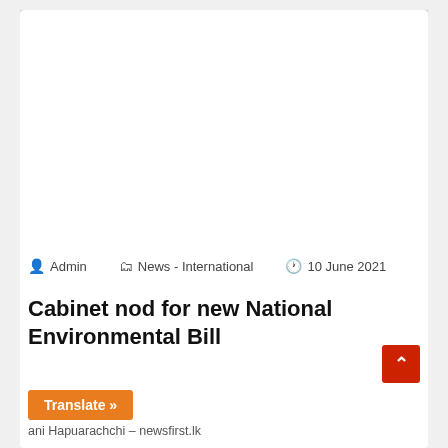[Figure (photo): Ministry of Environment Sri Lanka sign board with Sinhala, Tamil, and English text, with emblem/coat of arms on the left side. Trees visible in background. NEWS badge in lower right.]
Admin   News - International   10 June 2021
Cabinet nod for new National Environmental Bill
ani Hapuarachchi – newsfirst.lk